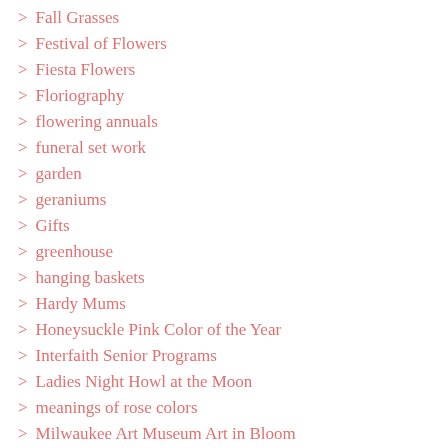Fall Grasses
Festival of Flowers
Fiesta Flowers
Floriography
flowering annuals
funeral set work
garden
geraniums
Gifts
greenhouse
hanging baskets
Hardy Mums
Honeysuckle Pink Color of the Year
Interfaith Senior Programs
Ladies Night Howl at the Moon
meanings of rose colors
Milwaukee Art Museum Art in Bloom
Mums
occasions